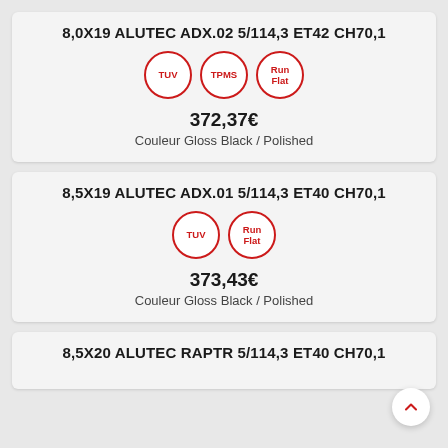8,0X19 ALUTEC ADX.02 5/114,3 ET42 CH70,1
[Figure (infographic): Three red circle badges labeled TUV, TPMS, Run Flat]
372,37€
Couleur Gloss Black / Polished
8,5X19 ALUTEC ADX.01 5/114,3 ET40 CH70,1
[Figure (infographic): Two red circle badges labeled TUV and Run Flat]
373,43€
Couleur Gloss Black / Polished
8,5X20 ALUTEC RAPTR 5/114,3 ET40 CH70,1